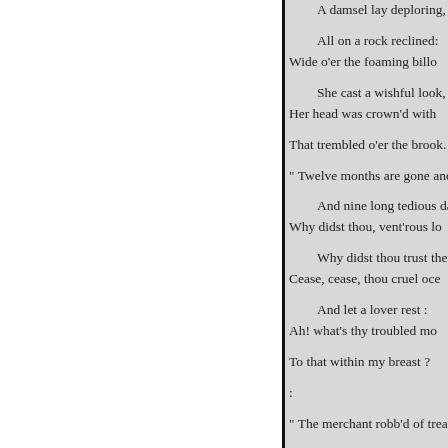A damsel lay deploring,

All on a rock reclined:
Wide o'er the foaming billo

She cast a wishful look,
Her head was crown'd with

That trembled o'er the brook.

" Twelve months are gone and o

And nine long tedious day
Why didst thou, vent'rous lo

Why didst thou trust the se
Cease, cease, thou cruel oce

And let a lover rest :
Ah! what's thy troubled mo

To that within my breast ?

:

" The merchant robb'd of treasur